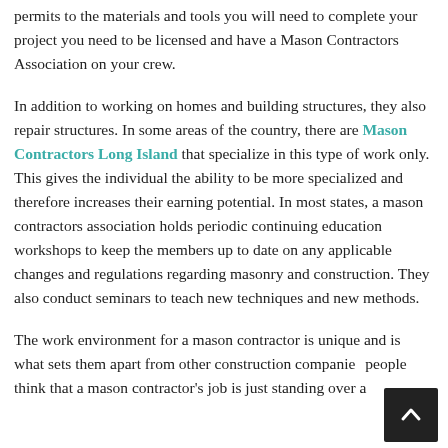permits to the materials and tools you will need to complete your project you need to be licensed and have a Mason Contractors Association on your crew.
In addition to working on homes and building structures, they also repair structures. In some areas of the country, there are Mason Contractors Long Island that specialize in this type of work only. This gives the individual the ability to be more specialized and therefore increases their earning potential. In most states, a mason contractors association holds periodic continuing education workshops to keep the members up to date on any applicable changes and regulations regarding masonry and construction. They also conduct seminars to teach new techniques and new methods.
The work environment for a mason contractor is unique and is what sets them apart from other construction companies people think that a mason contractor's job is just standing over a